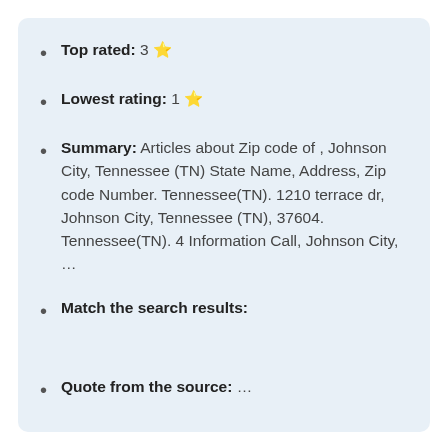Top rated: 3 🌟
Lowest rating: 1 🌟
Summary: Articles about Zip code of , Johnson City, Tennessee (TN) State Name, Address, Zip code Number. Tennessee(TN). 1210 terrace dr, Johnson City, Tennessee (TN), 37604. Tennessee(TN). 4 Information Call, Johnson City, …
Match the search results:
Quote from the source: …
Johnson City, TN Zip Code and